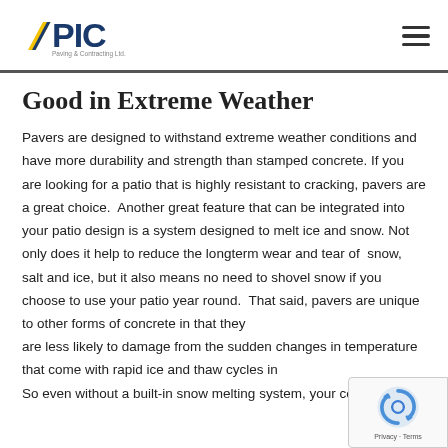EPIC Paving & Contracting Ltd
Good in Extreme Weather
Pavers are designed to withstand extreme weather conditions and have more durability and strength than stamped concrete. If you are looking for a patio that is highly resistant to cracking, pavers are a great choice.  Another great feature that can be integrated into your patio design is a system designed to melt ice and snow. Not only does it help to reduce the longterm wear and tear of  snow, salt and ice, but it also means no need to shovel snow if you choose to use your patio year round.  That said, pavers are unique to other forms of concrete in that they are less likely to damage from the sudden changes in temperature that come with rapid ice and thaw cycles in So even without a built-in snow melting system, your concrete
[Figure (logo): reCAPTCHA privacy badge with blue icon, Privacy · Terms text]